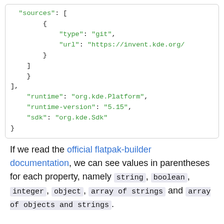"sources": [
    {
        "type": "git",
        "url": "https://invent.kde.org/"
    }
]
},
],
"runtime": "org.kde.Platform",
"runtime-version": "5.15",
"sdk": "org.kde.Sdk"
}
If we read the official flatpak-builder documentation, we can see values in parentheses for each property, namely string, boolean, integer, object, array of strings and array of objects and strings.